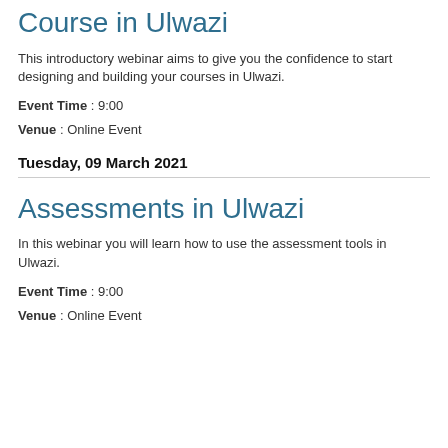Course in Ulwazi
This introductory webinar aims to give you the confidence to start designing and building your courses in Ulwazi.
Event Time : 9:00
Venue : Online Event
Tuesday, 09 March 2021
Assessments in Ulwazi
In this webinar you will learn how to use the assessment tools in Ulwazi.
Event Time : 9:00
Venue : Online Event